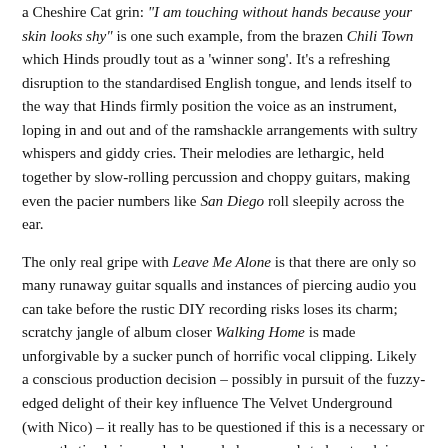a Cheshire Cat grin: "I am touching without hands because your skin looks shy" is one such example, from the brazen Chili Town which Hinds proudly tout as a 'winner song'. It's a refreshing disruption to the standardised English tongue, and lends itself to the way that Hinds firmly position the voice as an instrument, loping in and out and of the ramshackle arrangements with sultry whispers and giddy cries. Their melodies are lethargic, held together by slow-rolling percussion and choppy guitars, making even the pacier numbers like San Diego roll sleepily across the ear.
The only real gripe with Leave Me Alone is that there are only so many runaway guitar squalls and instances of piercing audio you can take before the rustic DIY recording risks loses its charm; scratchy jangle of album closer Walking Home is made unforgivable by a sucker punch of horrific vocal clipping. Likely a conscious production decision – possibly in pursuit of the fuzzy-edged delight of their key influence The Velvet Underground (with Nico) – it really has to be questioned if this is a necessary or an aesthetic choice, and a happy balance needs to be struck in future material.
A counterargument could be that this is Hinds' chaotic live reputation: that they produce the best ??? will...